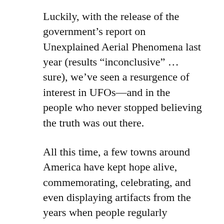Luckily, with the release of the government’s report on Unexplained Aerial Phenomena last year (results “inconclusive” … sure), we’ve seen a resurgence of interest in UFOs—and in the people who never stopped believing the truth was out there.
All this time, a few towns around America have kept hope alive, commemorating, celebrating, and even displaying artifacts from the years when people regularly mistook military aircraft for Martians (or, did they?). In a few spots, you may even see some unexplained phenomena for yourself. One of the best places in the US to search for aliens, UFOs, and all things extraterrestrial is Roswell, New Mexico.